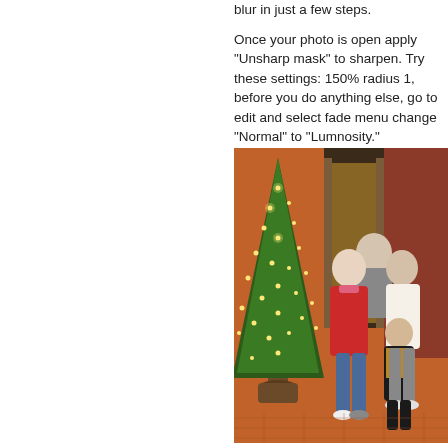blur in just a few steps.
Once your photo is open apply "Unsharp mask" to sharpen. Try these settings: 150% radius 1, before you do anything else, go to edit and select fade menu change "Normal" to "Lumnosity."
Here is the difference:
[Figure (photo): Family of four people standing in front of a decorated Christmas tree with lights in a brick-floored indoor/outdoor setting. The family includes an older man in the back, a teenage girl in a red jacket, a woman with glasses in a white jacket, and a young boy in a black and yellow jacket.]